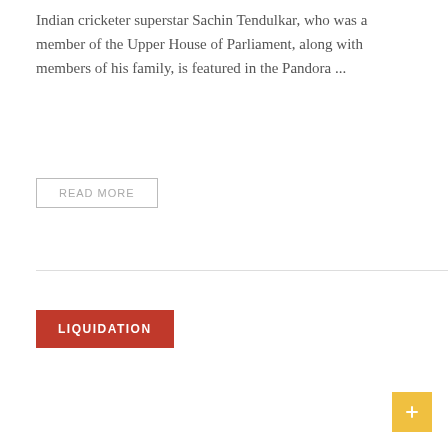Indian cricketer superstar Sachin Tendulkar, who was a member of the Upper House of Parliament, along with members of his family, is featured in the Pandora ...
READ MORE
LIQUIDATION